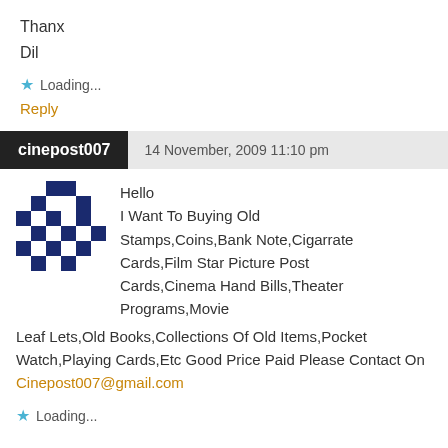Thanx
Dil
Loading...
Reply
cinepost007   14 November, 2009 11:10 pm
Hello
I Want To Buying Old Stamps,Coins,Bank Note,Cigarrate Cards,Film Star Picture Post Cards,Cinema Hand Bills,Theater Programs,Movie Leaf Lets,Old Books,Collections Of Old Items,Pocket Watch,Playing Cards,Etc Good Price Paid Please Contact On Cinepost007@gmail.com
Loading...